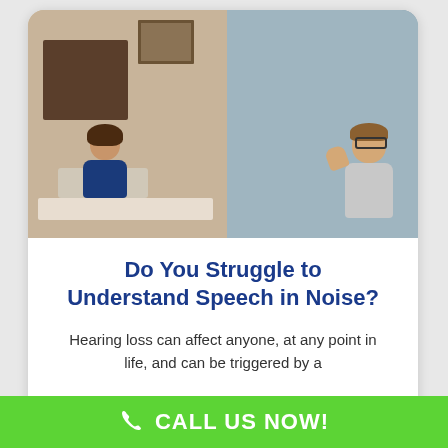[Figure (photo): Audiologist on the left side of a glass partition operating hearing test equipment at a desk, while a young man wearing glasses sits in a sound booth on the right side with his hand raised near his ear.]
Do You Struggle to Understand Speech in Noise?
Hearing loss can affect anyone, at any point in life, and can be triggered by a
CALL US NOW!